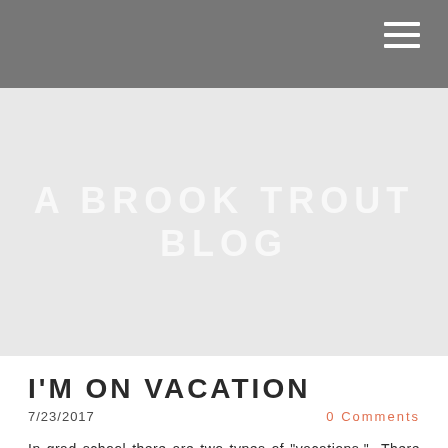A BROOK TROUT BLOG
A BROOK TROUT BLOG
I'M ON VACATION
7/23/2017
0 Comments
In grad school there are two types of "vacations." There are conferences, which you hope are in desirable cities that you can